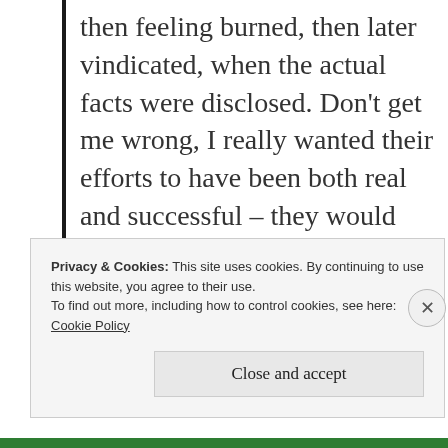then feeling burned, then later vindicated, when the actual facts were disclosed. Don't get me wrong, I really wanted their efforts to have been both real and successful – they would have changed healthcare for the better. Now, that seems unlikely to be the case.
Privacy & Cookies: This site uses cookies. By continuing to use this website, you agree to their use.
To find out more, including how to control cookies, see here:
Cookie Policy
Close and accept